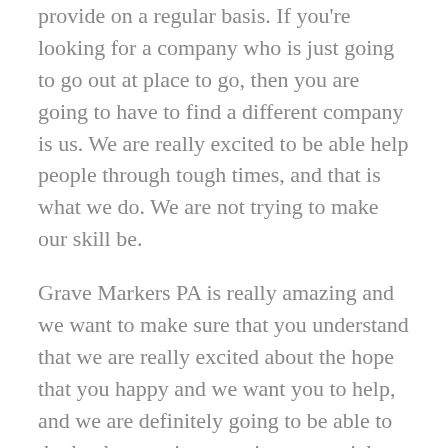provide on a regular basis. If you're looking for a company who is just going to go out at place to go, then you are going to have to find a different company is us. We are really excited to be able help people through tough times, and that is what we do. We are not trying to make our skill be.
Grave Markers PA is really amazing and we want to make sure that you understand that we are really excited about the hope that you happy and we want you to help, and we are definitely going to be able to do that by creating amazing memorial. Who is very important, and that we are going to utilize all of our abilities concerning kind empathy and sympathy in order to make sure that you have